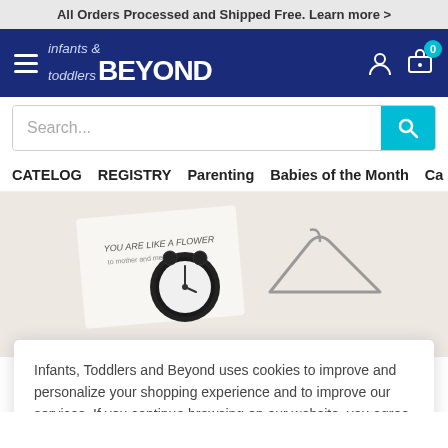All Orders Processed and Shipped Free. Learn more >
[Figure (logo): infants & toddlers BEYOND logo in white on dark blue background with hamburger menu, account icon, and cart icon showing 0 items]
Search...
CATELOG
REGISTRY
Parenting
Babies of the Month
Ca
[Figure (photo): Lifestyle photo showing an alarm clock, a clothes hanger, and a card reading YOU ARE LIKE A FLOWER on a light background]
Infants, Toddlers and Beyond uses cookies to improve and personalize your shopping experience and to improve our services. If you continue browsing on our website, you agree to the use of such cookies.
Accept